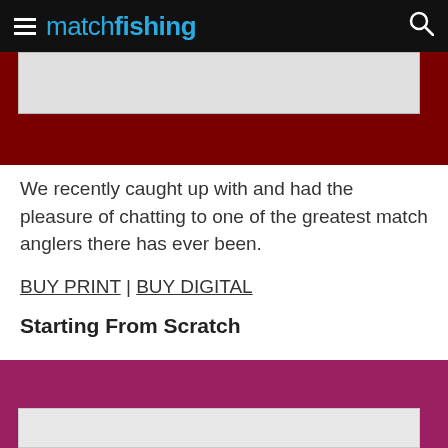match fishing
[Figure (photo): Top portion showing a dark red/maroon background with a partial image of a magazine article at the top]
We recently caught up with and had the pleasure of chatting to one of the greatest match anglers there has ever been.
BUY PRINT | BUY DIGITAL
Starting From Scratch
[Figure (photo): Bottom image showing a magenta/pink background with partial magazine content visible at the bottom]